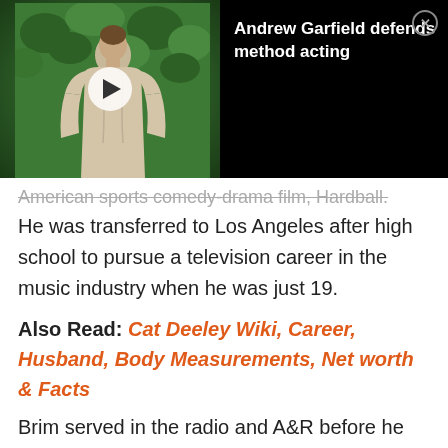[Figure (screenshot): Video thumbnail overlay showing Andrew Garfield standing in front of green hedge backdrop, with play button, and black panel with text 'Andrew Garfield defends method acting' and close button]
American sports comedy-drama film, Hardball. He was transferred to Los Angeles after high school to pursue a television career in the music industry when he was just 19.
Also Read: Cat Deeley Wiki, Career, Husband, Body Measurements, Net worth & Facts
Brim served in the radio and A&R before he met Rob Dyrdek. Dyrdek invited him to be a co-host of his new MTV show Ridiculousness, with an American rapper Chanel West Coast.